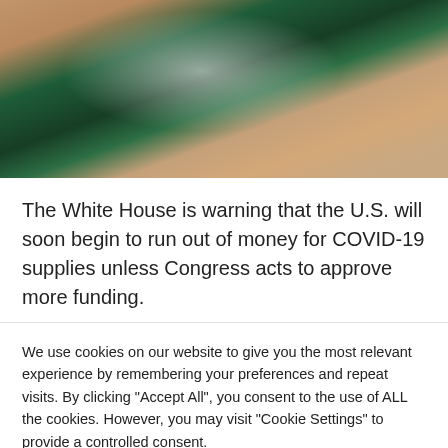[Figure (photo): Close-up photo of a person in a dark green athletic/swimwear outfit with pink accents, background is light/white]
The White House is warning that the U.S. will soon begin to run out of money for COVID-19 supplies unless Congress acts to approve more funding.
We use cookies on our website to give you the most relevant experience by remembering your preferences and repeat visits. By clicking "Accept All", you consent to the use of ALL the cookies. However, you may visit "Cookie Settings" to provide a controlled consent.